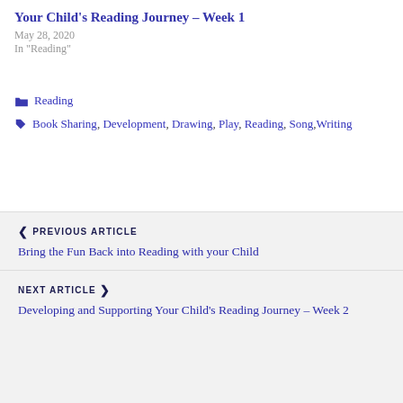Your Child's Reading Journey – Week 1
May 28, 2020
In "Reading"
Reading
Book Sharing, Development, Drawing, Play, Reading, Song, Writing
PREVIOUS ARTICLE
Bring the Fun Back into Reading with your Child
NEXT ARTICLE
Developing and Supporting Your Child's Reading Journey – Week 2